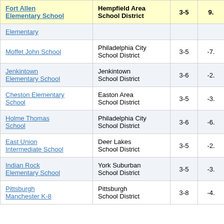| School | District | Grades | Score |
| --- | --- | --- | --- |
| Fort Allen Elementary School | Hempfield Area School District | 3-5 | 9. |
| Elementary |  |  |  |
| Moffet John School | Philadelphia City School District | 3-5 | -7. |
| Jenkintown Elementary School | Jenkintown School District | 3-6 | -2. |
| Cheston Elementary School | Easton Area School District | 3-5 | -3. |
| Holme Thomas School | Philadelphia City School District | 3-6 | -6. |
| East Union Intermediate School | Deer Lakes School District | 3-5 | -2. |
| Indian Rock Elementary School | York Suburban School District | 3-5 | -3. |
| Pittsburgh Manchester K-8 | Pittsburgh School District | 3-8 | -4. |